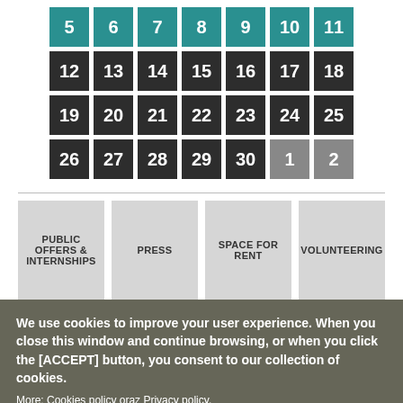[Figure (other): Calendar grid showing dates 5-30 in dark/teal tiles and 1-2 in grey tiles, arranged in 4 rows of 7]
PUBLIC OFFERS & INTERNSHIPS | PRESS | SPACE FOR RENT | VOLUNTEERING
We use cookies to improve your user experience. When you close this window and continue browsing, or when you click the [ACCEPT] button, you consent to our collection of cookies.
More: Cookies policy oraz Privacy policy.
I ACCEPT